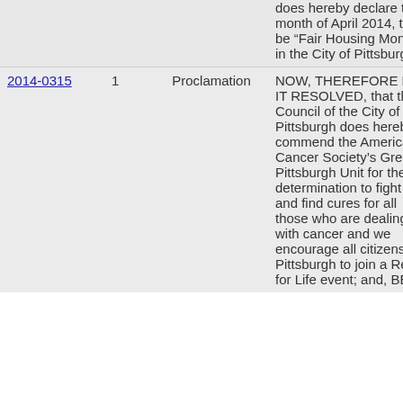| ID | # | Type | Description | Status |
| --- | --- | --- | --- | --- |
|  |  |  | does hereby declare the month of April 2014, to be “Fair Housing Month” in the City of Pittsburgh. |  |
| 2014-0315 | 1 | Proclamation | NOW, THEREFORE BE IT RESOLVED, that the Council of the City of Pittsburgh does hereby commend the American Cancer Society’s Greater Pittsburgh Unit for the determination to fight and find cures for all those who are dealing with cancer and we encourage all citizens of Pittsburgh to join a Relay for Life event; and, BE IT | Adopted |